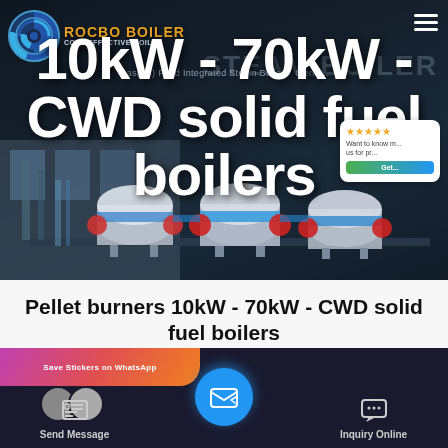[Figure (screenshot): Hero banner of a boiler manufacturer website (ROCBO BOILER) showing industrial boilers in background. Large white text reads '10kW - 70kW - CWD solid fuel boilers'. Logo top-left, hamburger menu top-right, chat widget top-right.]
Pellet burners 10kW - 70kW - CWD solid fuel boilers
[Figure (screenshot): Bottom action bar showing: pink/orange 'Save Stickers on WhatsApp' banner strip, three action buttons: 'Send Message' (left), centered circular blue email/message icon, 'Inquiry Online' (right).]